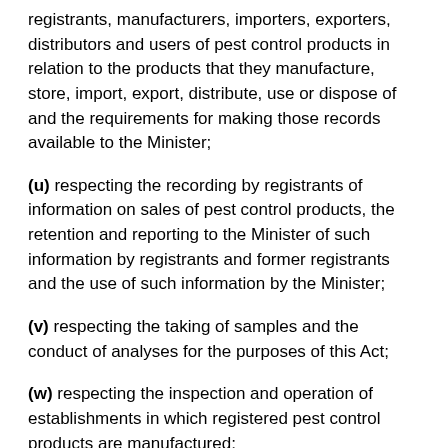registrants, manufacturers, importers, exporters, distributors and users of pest control products in relation to the products that they manufacture, store, import, export, distribute, use or dispose of and the requirements for making those records available to the Minister;
(u) respecting the recording by registrants of information on sales of pest control products, the retention and reporting to the Minister of such information by registrants and former registrants and the use of such information by the Minister;
(v) respecting the taking of samples and the conduct of analyses for the purposes of this Act;
(w) respecting the inspection and operation of establishments in which registered pest control products are manufactured;
(x) respecting the preservation, detention and forfeiture of pest control products and any other